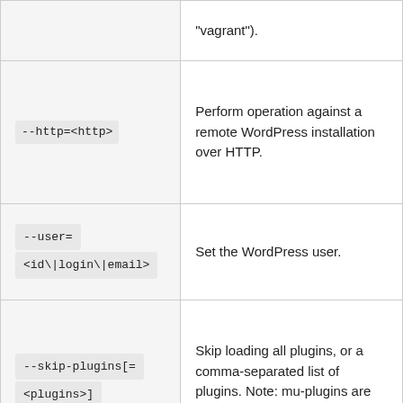| Parameter | Description |
| --- | --- |
| "vagrant"). |  |
| --http=<http> | Perform operation against a remote WordPress installation over HTTP. |
| --user=
<id\|login\|email> | Set the WordPress user. |
| --skip-plugins[=
<plugins>] | Skip loading all plugins, or a comma-separated list of plugins. Note: mu-plugins are still loaded. |
|  | Skip loading all |